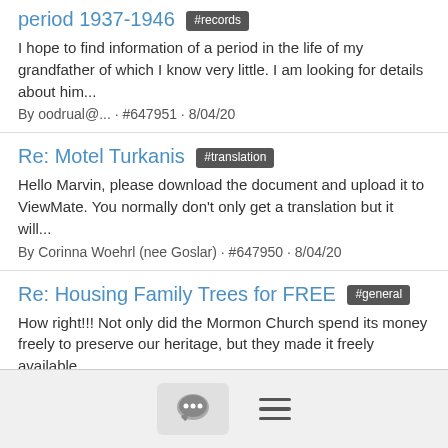period 1937-1946 #records
I hope to find information of a period in the life of my grandfather of which I know very little. I am looking for details about him...
By oodrual@... · #647951 · 8/04/20
Re: Motel Turkanis #translation
Hello Marvin, please download the document and upload it to ViewMate. You normally don't only get a translation but it will...
By Corinna Woehrl (nee Goslar) · #647950 · 8/04/20
Re: Housing Family Trees for FREE #general
How right!!! Not only did the Mormon Church spend its money freely to preserve our heritage, but they made it freely available...
By David Lewin · #647949 · 8/04/20
2 people liked this
Ancestry Introduces its AncestryHealth powered by Next Generation Sequencing #announcements
Ancestry announced its launch of AncestryHealth powered by